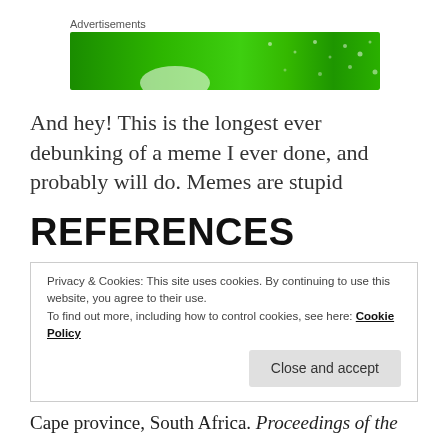[Figure (other): Green advertisement banner with white dots and a white blob at the bottom]
And hey! This is the longest ever debunking of a meme I ever done, and probably will do. Memes are stupid
REFERENCES
Privacy & Cookies: This site uses cookies. By continuing to use this website, you agree to their use.
To find out more, including how to control cookies, see here: Cookie Policy
Close and accept
Cape province, South Africa. Proceedings of the